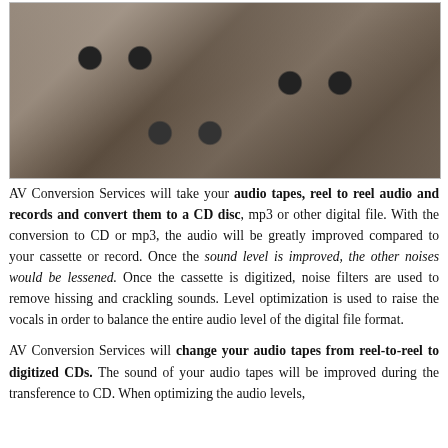[Figure (photo): A pile of clear plastic audio cassette tapes scattered on a surface]
AV Conversion Services will take your audio tapes, reel to reel audio and records and convert them to a CD disc, mp3 or other digital file. With the conversion to CD or mp3, the audio will be greatly improved compared to your cassette or record. Once the sound level is improved, the other noises would be lessened. Once the cassette is digitized, noise filters are used to remove hissing and crackling sounds. Level optimization is used to raise the vocals in order to balance the entire audio level of the digital file format.
AV Conversion Services will change your audio tapes from reel-to-reel to digitized CDs. The sound of your audio tapes will be improved during the transference to CD. When optimizing the audio levels,